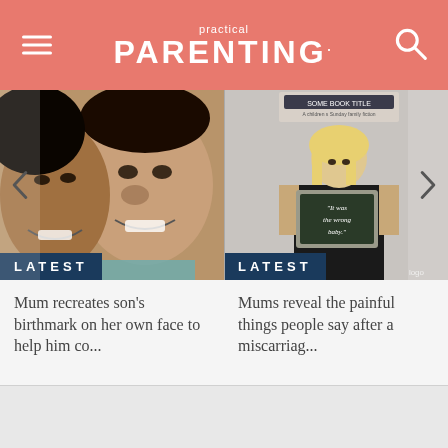practical PARENTING.
[Figure (photo): Mother and young child cheek-to-cheek, smiling closely at the camera. The child has a visible birthmark on their face.]
LATEST
Mum recreates son's birthmark on her own face to help him co...
[Figure (photo): A woman in black clothing holding a chalkboard sign that reads 'It was the wrong baby.' There is also a book cover visible at the top of the image.]
LATEST
Mums reveal the painful things people say after a miscarriag...